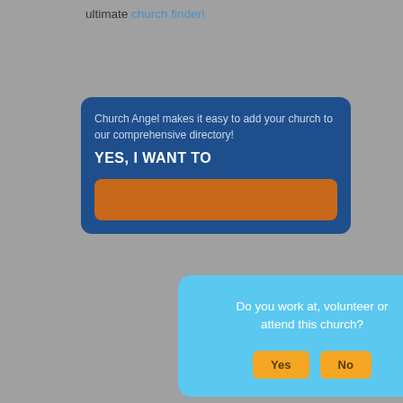ultimate church finder!
Church Angel makes it easy to add your church to our comprehensive directory!
YES, I WANT TO
[Figure (screenshot): Modal dialog box with light blue background asking 'Do you work at, volunteer or attend this church?' with Yes and No buttons]
[Figure (photo): Advertisement banner with dark background showing italic/grunge text reading 'The Bible NEVER SAID THAT']